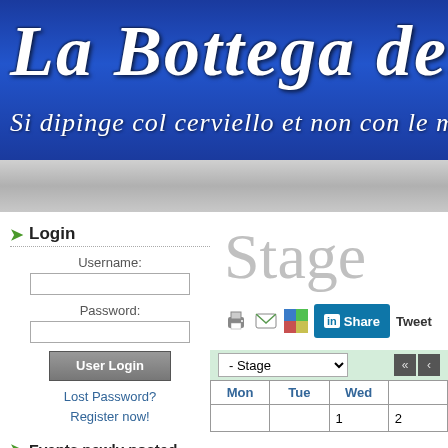[Figure (screenshot): Blue gradient header banner with italic script text 'La Bottega del' and subtitle 'Si dipinge col cerviello et non con le mani - M']
Login
Username:
Password:
User Login
Lost Password?
Register now!
Events newly posted
2015/6/6 14:45:52
[Saturday June 13th,
Stage
[Figure (screenshot): Share bar with print icon, email icon, social icon, LinkedIn Share button, and Tweet link]
| Mon | Tue | Wed |
| --- | --- | --- |
|  |  | 1 |